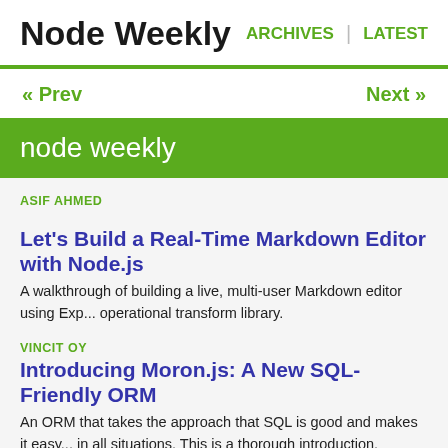Node Weekly | ARCHIVES | LATEST
« Prev    Next »
node weekly
ASIF AHMED
Let's Build a Real-Time Markdown Editor with Node.js
A walkthrough of building a live, multi-user Markdown editor using Exp... operational transform library.
VINCIT OY
Introducing Moron.js: A New SQL-Friendly ORM
An ORM that takes the approach that SQL is good and makes it easy... in all situations. This is a thorough introduction.
GITHUB
npm 3.0 (Beta) Released